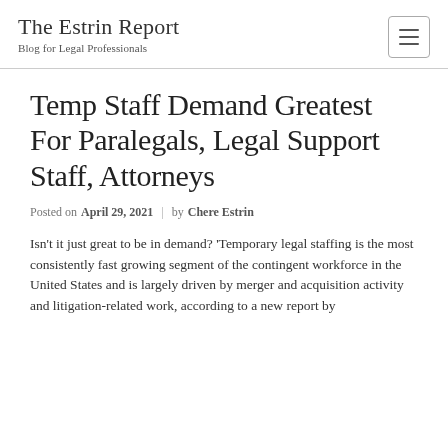The Estrin Report — Blog for Legal Professionals
Temp Staff Demand Greatest For Paralegals, Legal Support Staff, Attorneys
Posted on April 29, 2021 | by Chere Estrin
Isn't it just great to be in demand? 'Temporary legal staffing is the most consistently fast growing segment of the contingent workforce in the United States and is largely driven by merger and acquisition activity and litigation-related work, according to a new report by